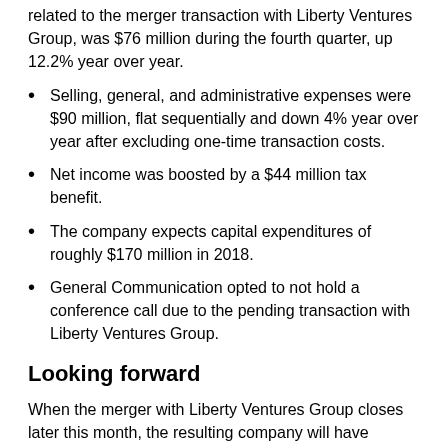related to the merger transaction with Liberty Ventures Group, was $76 million during the fourth quarter, up 12.2% year over year.
Selling, general, and administrative expenses were $90 million, flat sequentially and down 4% year over year after excluding one-time transaction costs.
Net income was boosted by a $44 million tax benefit.
The company expects capital expenditures of roughly $170 million in 2018.
General Communication opted to not hold a conference call due to the pending transaction with Liberty Ventures Group.
Looking forward
When the merger with Liberty Ventures Group closes later this month, the resulting company will have increased scale and be diversified beyond Alaska. That's good news